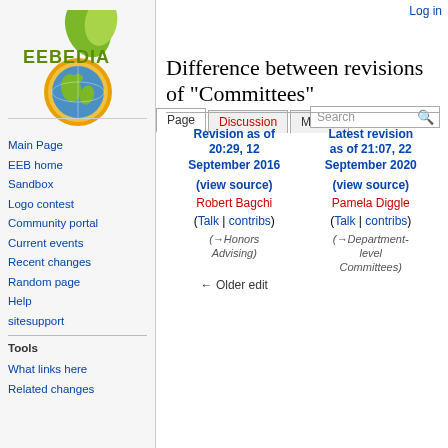Log in
[Figure (logo): EEBEDIA wiki logo with globe and green leaf design]
Difference between revisions of "Committees"
| Revision as of 20:29, 12 September 2016 | Latest revision as of 21:07, 22 September 2020 |
| --- | --- |
| (view source) | (view source) |
| Robert Bagchi | Pamela Diggle |
| (Talk | contribs) | (Talk | contribs) |
| (→Honors Advising) | (→Department-level Committees) |
| ← Older edit |  |
Main Page
EEB home
Sandbox
Logo contest
Community portal
Current events
Recent changes
Random page
Help
sitesupport
Tools
What links here
Related changes